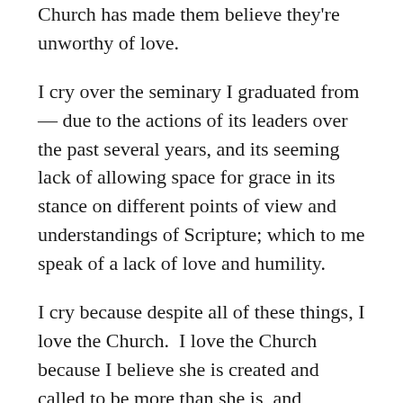Church has made them believe they're unworthy of love.
I cry over the seminary I graduated from — due to the actions of its leaders over the past several years, and its seeming lack of allowing space for grace in its stance on different points of view and understandings of Scripture; which to me speak of a lack of love and humility.
I cry because despite all of these things, I love the Church.  I love the Church because I believe she is created and called to be more than she is, and because I believe Christ loves  her more than I can even fathom.  I cry because I believe that these words from Bill Hybels are true, that: